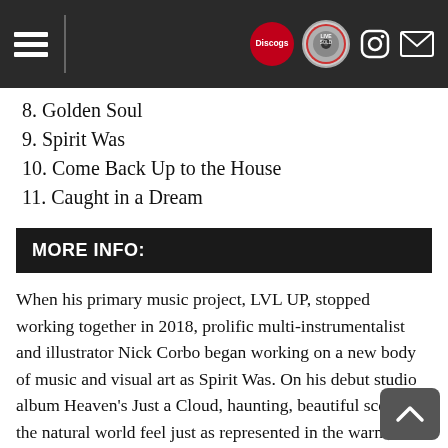Navigation header with hamburger menu and icons for Discogs, record, Instagram, and mail
8. Golden Soul
9. Spirit Was
10. Come Back Up to the House
11. Caught in a Dream
MORE INFO:
When his primary music project, LVL UP, stopped working together in 2018, prolific multi-instrumentalist and illustrator Nick Corbo began working on a new body of music and visual art as Spirit Was. On his debut studio album Heaven's Just a Cloud, haunting, beautiful scenes of the natural world feel just as represented in the warm, classic, wooden floors of country rock as they do in the dark, droning, shadows of doom and black metal. With new creative liberties, Corbo is allowed an opportunity to keep exploring the heavy, distorted instrumentation and experimental techniques that have shaped his music to date. His ability to focus on small details and weave them into vast networks has been evident in all of